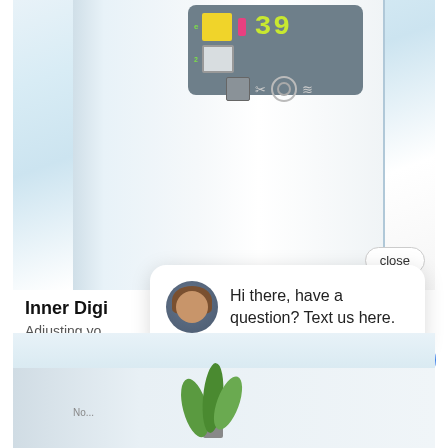[Figure (photo): Photo of a refrigerator interior/exterior showing a digital control panel with yellow blocks, a pink indicator, and green numeric display showing '39'. The fridge door is white/light blue. A chat widget overlay is visible with a close button, avatar of a woman, and the message 'Hi there, have a question? Text us here.' A blue circular chat button appears at bottom right. A second refrigerator photo appears at the bottom showing interior shelves with green vegetables.]
Inner Digi
Adjusting yo...